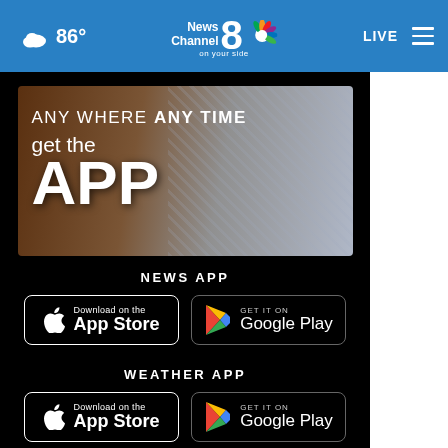86° News Channel 8 on your side | LIVE
[Figure (screenshot): App promotion banner: 'ANY WHERE ANY TIME get the APP' with hands holding a smartphone in background]
NEWS APP
[Figure (other): Download on the App Store button]
[Figure (other): GET IT ON Google Play button]
WEATHER APP
[Figure (other): Download on the App Store button]
[Figure (other): GET IT ON Google Play button]